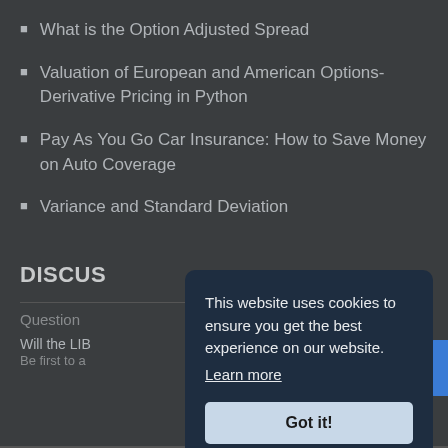What is the Option Adjusted Spread
Valuation of European and American Options-Derivative Pricing in Python
Pay As You Go Car Insurance: How to Save Money on Auto Coverage
Variance and Standard Deviation
DISCUS
Question
Will the LIB
Be first to a
This website uses cookies to ensure you get the best experience on our website.
Learn more
Got it!